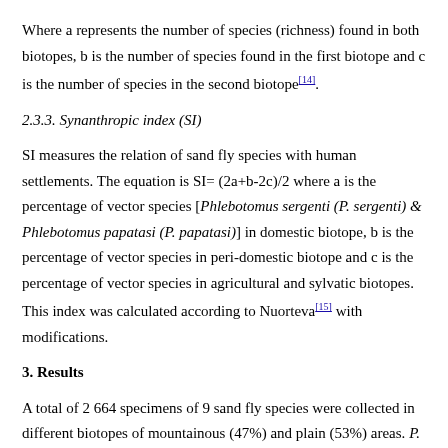Where a represents the number of species (richness) found in both biotopes, b is the number of species found in the first biotope and c is the number of species in the second biotope[14].
2.3.3. Synanthropic index (SI)
SI measures the relation of sand fly species with human settlements. The equation is SI= (2a+b-2c)/2 where a is the percentage of vector species [Phlebotomus sergenti (P. sergenti) & Phlebotomus papatasi (P. papatasi)] in domestic biotope, b is the percentage of vector species in peri-domestic biotope and c is the percentage of vector species in agricultural and sylvatic biotopes. This index was calculated according to Nuorteva[15] with modifications.
3. Results
A total of 2 664 specimens of 9 sand fly species were collected in different biotopes of mountainous (47%) and plain (53%) areas. P. sergenti was the dominant species in the region. The activity of sand flies in the mountainous area was found to start in May and end in November, but in the plain area, it started in April and continued until December [Table - 1].